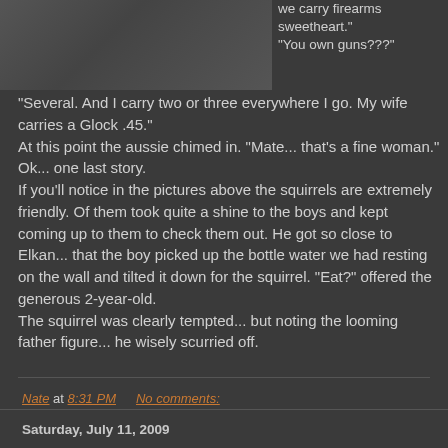[Figure (photo): Partial photo showing a person in plaid/checkered clothing near a rocky surface with orange visible in upper right]
we carry firearms sweetheart."
"You own guns???"
"Several. And I carry two or three everywhere I go. My wife carries a Glock .45."
At this point the aussie chimed in. "Mate... that's a fine woman."
Ok... one last story.
If you'll notice in the pictures above the squirrels are extremely friendly. Of them took quite a shine to the boys and kept coming up to them to check them out. He got so close to Elkan... that the boy picked up the bottle water we had resting on the wall and tilted it down for the squirrel. "Eat?" offered the generous 2-year-old.
The squirrel was clearly tempted... but noting the looming father figure... he wisely scurried off.
Nate at 8:31 PM    No comments:
Saturday, July 11, 2009